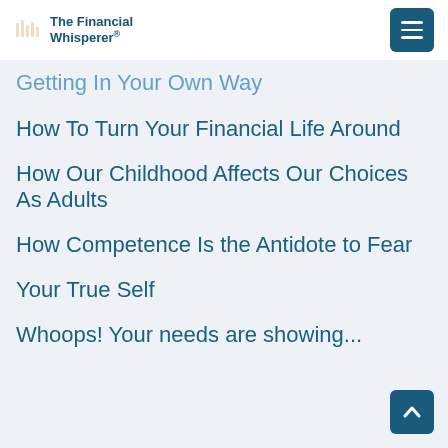The Financial Whisperer®
Getting In Your Own Way
How To Turn Your Financial Life Around
How Our Childhood Affects Our Choices As Adults
How Competence Is the Antidote to Fear
Your True Self
Whoops! Your needs are showing...